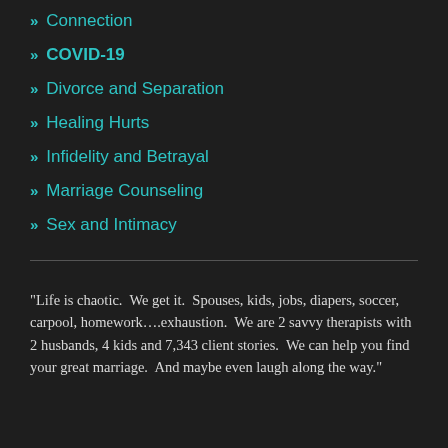» Connection
» COVID-19
» Divorce and Separation
» Healing Hurts
» Infidelity and Betrayal
» Marriage Counseling
» Sex and Intimacy
“Life is chaotic.  We get it.  Spouses, kids, jobs, diapers, soccer, carpool, homework….exhaustion.  We are 2 savvy therapists with 2 husbands, 4 kids and 7,343 client stories.  We can help you find your great marriage.  And maybe even laugh along the way.”